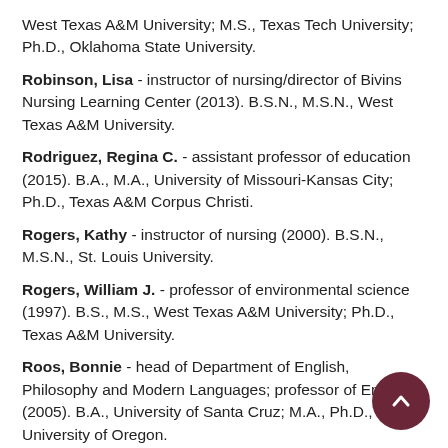West Texas A&M University; M.S., Texas Tech University; Ph.D., Oklahoma State University.
Robinson, Lisa - instructor of nursing/director of Bivins Nursing Learning Center (2013). B.S.N., M.S.N., West Texas A&M University.
Rodriguez, Regina C. - assistant professor of education (2015). B.A., M.A., University of Missouri-Kansas City; Ph.D., Texas A&M Corpus Christi.
Rogers, Kathy - instructor of nursing (2000). B.S.N., M.S.N., St. Louis University.
Rogers, William J. - professor of environmental science (1997). B.S., M.S., West Texas A&M University; Ph.D., Texas A&M University.
Roos, Bonnie - head of Department of English, Philosophy and Modern Languages; professor of English (2005). B.A., University of Santa Cruz; M.A., Ph.D., University of Oregon.